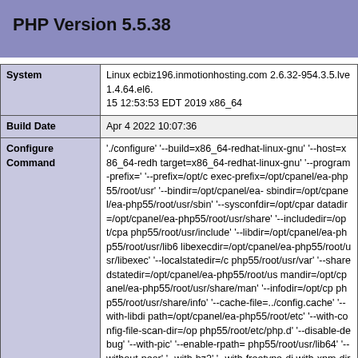PHP Version 5.5.38
| Field | Value |
| --- | --- |
| System | Linux ecbiz196.inmotionhosting.com 2.6.32-954.3.5.lve1.4.64.el6. 15 12:53:53 EDT 2019 x86_64 |
| Build Date | Apr 4 2022 10:07:36 |
| Configure Command | './configure' '--build=x86_64-redhat-linux-gnu' '--host=x86_64-redh target=x86_64-redhat-linux-gnu' '--program-prefix=' '--prefix=/opt/c exec-prefix=/opt/cpanel/ea-php55/root/usr' '--bindir=/opt/cpanel/ea- sbindir=/opt/cpanel/ea-php55/root/usr/sbin' '--sysconfdir=/opt/cpar datadir=/opt/cpanel/ea-php55/root/usr/share' '--includedir=/opt/cpa php55/root/usr/include' '--libdir=/opt/cpanel/ea-php55/root/usr/lib6 libexecdir=/opt/cpanel/ea-php55/root/usr/libexec' '--localstatedir=/c php55/root/usr/var' '--sharedstatedir=/opt/cpanel/ea-php55/root/us mandir=/opt/cpanel/ea-php55/root/usr/share/man' '--infodir=/opt/cp php55/root/usr/share/info' '--cache-file=../config.cache' '--with-libdi path=/opt/cpanel/ea-php55/root/etc' '--with-config-file-scan-dir=/op php55/root/etc/php.d' '--disable-debug' '--with-pic' '--enable-rpath= php55/root/usr/lib64' '--without-pear' '--with-bz2' '--with-freetype-di with-xpm-dir=/usr' '--with-vpx-dir=/usr' '--enable-gd-native-ttf' '--with with-iconv' '--with-jpeg-dir=/usr' '--with-openssl=/opt/cpanel/ea-ope dir=/opt/cpanel/ea-openssl' '--with-zlib' '--with-layout=GNU' '--enab enable-sockets' '--with-kerberos' '--enable-shmop' '--with-libxml-di enable-xml' '--with-system-tzdata' '--with-mhash' '--libdir=/opt/cpar php55/root/usr/lib64/php' '--enable-pcntl' '--enable-opcache' '--with imap=shared,/opt/cpanel/ea-php55/root/usr' '--with-imap-ssl' '--ena enable-mbregex' '--with-t1lib=/usr' '--with-gd=shared' '--with-gnu |